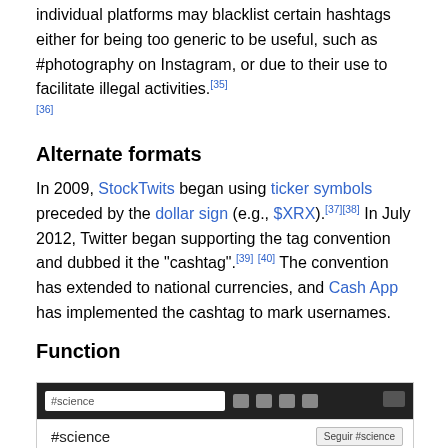individual platforms may blacklist certain hashtags either for being too generic to be useful, such as #photography on Instagram, or due to their use to facilitate illegal activities.[35][36]
Alternate formats
In 2009, StockTwits began using ticker symbols preceded by the dollar sign (e.g., $XRX).[37][38] In July 2012, Twitter began supporting the tag convention and dubbed it the "cashtag".[39][40] The convention has extended to national currencies, and Cash App has implemented the cashtag to mark usernames.
Function
[Figure (screenshot): Search bar in the header of a social networking site showing '#science' search term with a 'Seguir #science' button below]
Search bar in the header of a social networking site, searching for most recent posts containing the hashtag #science Hashtags are particularly useful in unmoderated forums that lack a formal ontological organization. Hashtags help users find content similar interest. Hashtags are neither registered